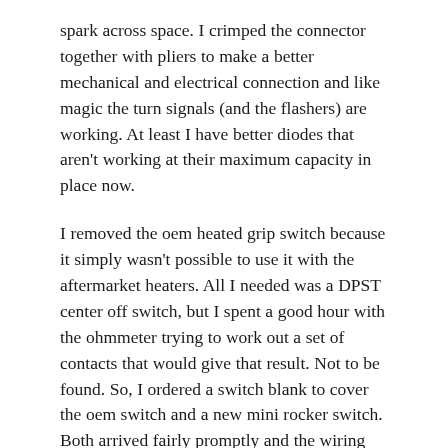spark across space. I crimped the connector together with pliers to make a better mechanical and electrical connection and like magic the turn signals (and the flashers) are working. At least I have better diodes that aren't working at their maximum capacity in place now.
I removed the oem heated grip switch because it simply wasn't possible to use it with the aftermarket heaters. All I needed was a DPST center off switch, but I spent a good hour with the ohmmeter trying to work out a set of contacts that would give that result. Not to be found. So, I ordered a switch blank to cover the oem switch and a new mini rocker switch. Both arrived fairly promptly and the wiring was simple enough.
The grip heater elements are held onto the throttle tube and the shrink wrap with 3M adhesive and then the grips are glued on with JB Weld. Not bad, all assembled and